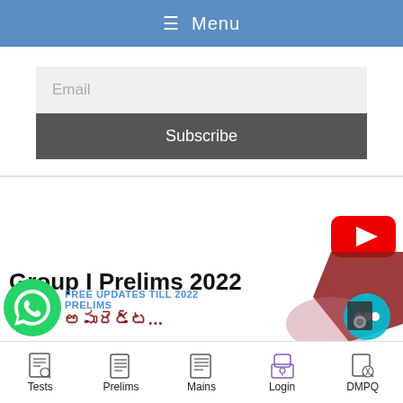≡ Menu
Email
Subscribe
Group I Prelims 2022
[Figure (logo): YouTube red play button icon]
[Figure (infographic): WhatsApp green phone icon with FREE UPDATES TILL 2022 PRELIMS text and partially visible Telugu/regional language text]
[Figure (other): Bottom navigation bar with icons for Tests, Prelims, Mains, Login, DMPQ]
Tests | Prelims | Mains | Login | DMPQ